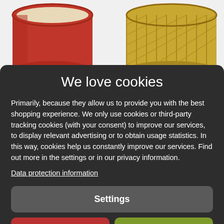[Figure (photo): Two ceramic mugs visible at the top of the page. Left mug is red and cream colored, right mug is gold/yellow with textured stripes. This is a product photo from an e-commerce website partially visible behind a cookie consent overlay.]
We love cookies
Primarily, because they allow us to provide you with the best shopping experience. We only use cookies or third-party tracking cookies (with your consent) to improve our services, to display relevant advertising or to obtain usage statistics. In this way, cookies help us constantly improve our services. Find out more in the settings or in our privacy information.
Data protection information
Settings
Reject all
Accept all